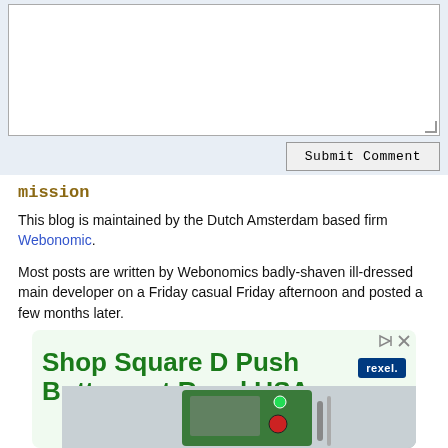[Figure (screenshot): Comment form area with textarea and Submit Comment button on light blue background]
mission
This blog is maintained by the Dutch Amsterdam based firm Webonomic.
Most posts are written by Webonomics badly-shaven ill-dressed main developer on a Friday casual Friday afternoon and posted a few months later.
[Figure (screenshot): Advertisement for Shop Square D Push Buttons at Rexel USA with Rexel logo and product image of green industrial control panel]